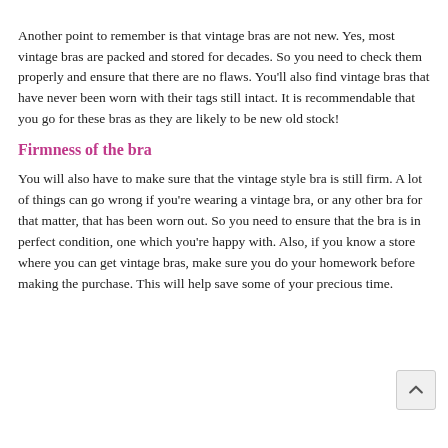Another point to remember is that vintage bras are not new. Yes, most vintage bras are packed and stored for decades. So you need to check them properly and ensure that there are no flaws. You'll also find vintage bras that have never been worn with their tags still intact. It is recommendable that you go for these bras as they are likely to be new old stock!
Firmness of the bra
You will also have to make sure that the vintage style bra is still firm. A lot of things can go wrong if you're wearing a vintage bra, or any other bra for that matter, that has been worn out. So you need to ensure that the bra is in perfect condition, one which you're happy with. Also, if you know a store where you can get vintage bras, make sure you do your homework before making the purchase. This will help save some of your precious time.